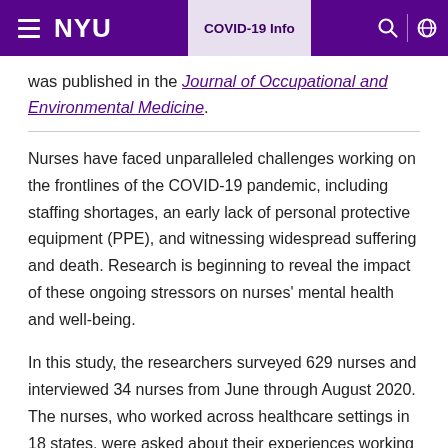NYU | COVID-19 Info
was published in the Journal of Occupational and Environmental Medicine.
Nurses have faced unparalleled challenges working on the frontlines of the COVID-19 pandemic, including staffing shortages, an early lack of personal protective equipment (PPE), and witnessing widespread suffering and death. Research is beginning to reveal the impact of these ongoing stressors on nurses' mental health and well-being.
In this study, the researchers surveyed 629 nurses and interviewed 34 nurses from June through August 2020. The nurses, who worked across healthcare settings in 18 states, were asked about their experiences working during the first six months of the pandemic in the U.S.